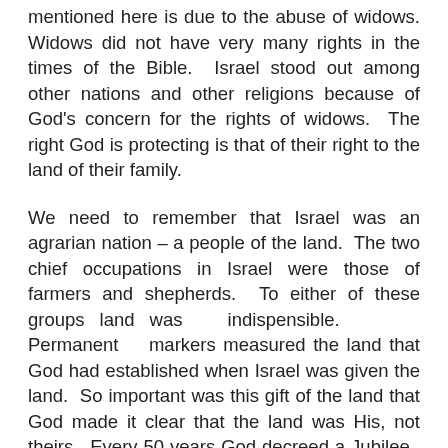mentioned here is due to the abuse of widows. Widows did not have very many rights in the times of the Bible. Israel stood out among other nations and other religions because of God's concern for the rights of widows. The right God is protecting is that of their right to the land of their family.
We need to remember that Israel was an agrarian nation – a people of the land. The two chief occupations in Israel were those of farmers and shepherds. To either of these groups land was indispensible. Permanent markers measured the land that God had established when Israel was given the land. So important was this gift of the land that God made it clear that the land was His, not theirs. Every 50 years God decreed a Jubilee. At this time every family would return to its land – and the land would